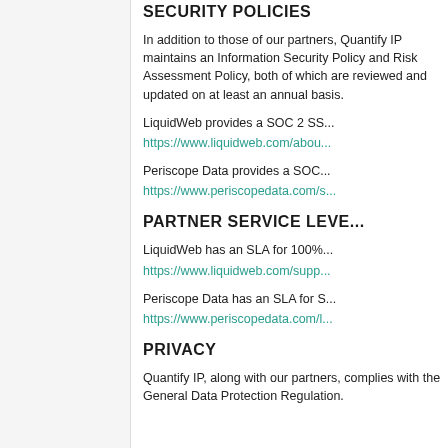SECURITY POLICIES
In addition to those of our partners, Quantify IP maintains an Information Security Policy and Risk Assessment Policy, both of which are reviewed and updated on at least an annual basis.
LiquidWeb provides a SOC 2 SS...
https://www.liquidweb.com/abou...
Periscope Data provides a SOC...
https://www.periscopedata.com/s...
PARTNER SERVICE LEVE...
LiquidWeb has an SLA for 100%...
https://www.liquidweb.com/supp...
Periscope Data has an SLA for S...
https://www.periscopedata.com/l...
PRIVACY
Quantify IP, along with our partners, complies with the General Data Protection Regulation.